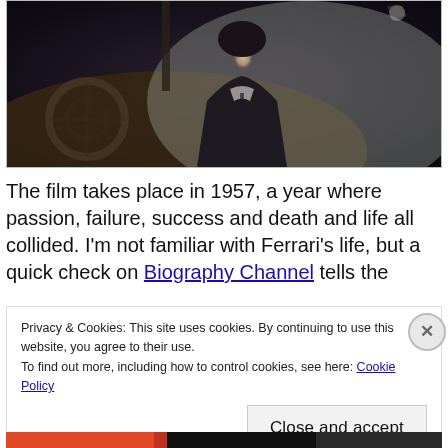[Figure (photo): A man in a dark suit sitting inside a luxury car, viewed from the side. The car interior has light-colored leather seats and a steering wheel visible. The image is dark and moody.]
The film takes place in 1957, a year where passion, failure, success and death and life all collided. I'm not familiar with Ferrari's life, but a quick check on Biography Channel tells the
Privacy & Cookies: This site uses cookies. By continuing to use this website, you agree to their use.
To find out more, including how to control cookies, see here: Cookie Policy

Close and accept